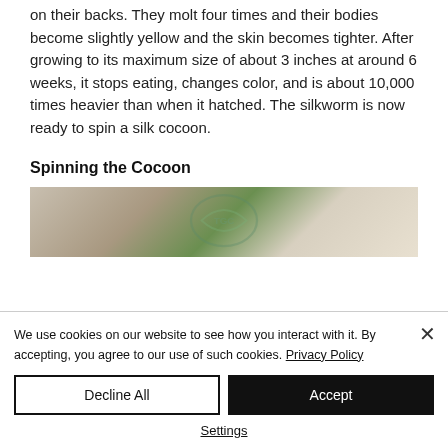on their backs. They molt four times and their bodies become slightly yellow and the skin becomes tighter. After growing to its maximum size of about 3 inches at around 6 weeks, it stops eating, changes color, and is about 10,000 times heavier than when it hatched. The silkworm is now ready to spin a silk cocoon.
Spinning the Cocoon
[Figure (photo): Photo of silkworms with green leaves and white cocoons on a sandy/beige surface. TGC watermark logo visible.]
We use cookies on our website to see how you interact with it. By accepting, you agree to our use of such cookies. Privacy Policy
Decline All | Accept | Settings